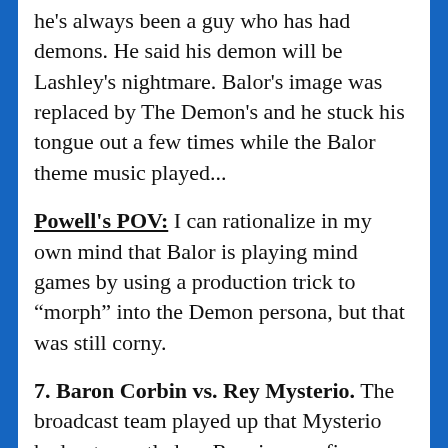he's always been a guy who has had demons. He said his demon will be Lashley's nightmare. Balor's image was replaced by The Demon's and he stuck his tongue out a few times while the Balor theme music played...
Powell's POV: I can rationalize in my own mind that Balor is playing mind games by using a production trick to “morph” into the Demon persona, but that was still corny.
7. Baron Corbin vs. Rey Mysterio. The broadcast team played up that Mysterio had not wrestled on Raw in over five years. Rome gave Corbin a big buildup by mentioning his golden glove background and WWE accolades, then billed him as D.C.’s favorite son. Corbin caught Mysterio with an elbow as he was going for a move between the ropes. [C]